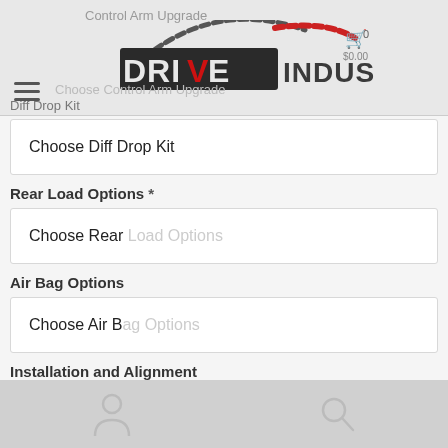Control Arm Upgrade
[Figure (logo): Drive Industries logo with checkmark V design in red and black, with dashed arc above]
Choose Control Arm Upgrade
Diff Drop Kit
Choose Diff Drop Kit
Rear Load Options *
Choose Rear Load Options
Air Bag Options
Choose Air Bag Options
Installation and Alignment
Choose Installation and Alignment